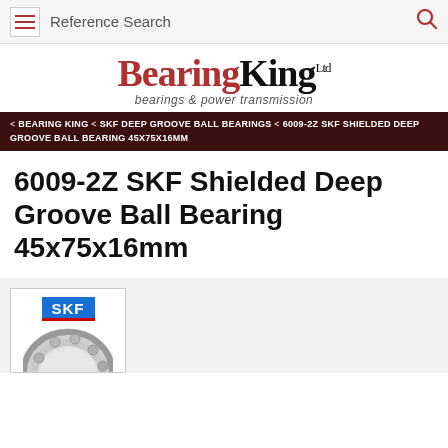Reference Search
[Figure (logo): BearingKing Ltd logo with tagline 'bearings & power transmission']
< BEARING KING < SKF DEEP GROOVE BALL BEARINGS < 6009-2Z SKF SHIELDED DEEP GROOVE BALL BEARING 45X75X16MM
6009-2Z SKF Shielded Deep Groove Ball Bearing 45x75x16mm
[Figure (photo): SKF branded shielded deep groove ball bearing 6009-2Z product image with SKF logo in blue]